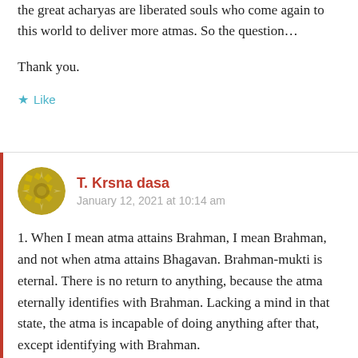the great acharyas are liberated souls who come again to this world to deliver more atmas. So the question…
Thank you.
★ Like
T. Krsna dasa
January 12, 2021 at 10:14 am
1. When I mean atma attains Brahman, I mean Brahman, and not when atma attains Bhagavan. Brahman-mukti is eternal. There is no return to anything, because the atma eternally identifies with Brahman. Lacking a mind in that state, the atma is incapable of doing anything after that, except identifying with Brahman.